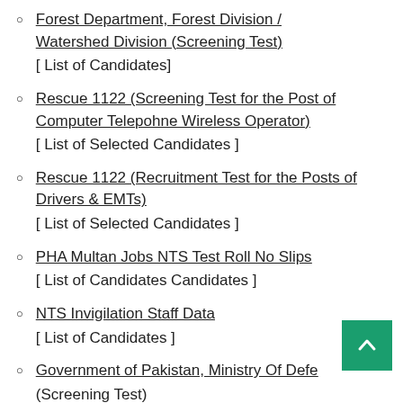Forest Department, Forest Division / Watershed Division (Screening Test) [ List of Candidates]
Rescue 1122 (Screening Test for the Post of Computer Telepohne Wireless Operator) [ List of Selected Candidates ]
Rescue 1122 (Recruitment Test for the Posts of Drivers & EMTs) [ List of Selected Candidates ]
PHA Multan Jobs NTS Test Roll No Slips [ List of Candidates Candidates ]
NTS Invigilation Staff Data [ List of Candidates ]
Government of Pakistan, Ministry Of Defe... (Screening Test)